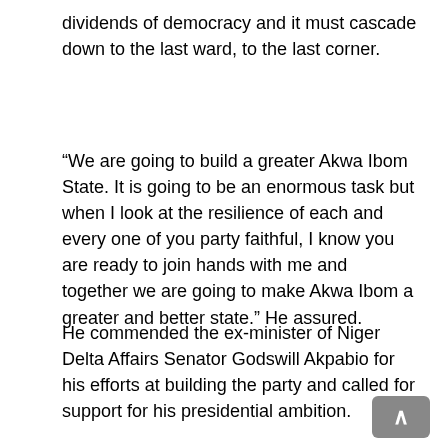dividends of democracy and it must cascade down to the last ward, to the last corner.
“We are going to build a greater Akwa Ibom State. It is going to be an enormous task but when I look at the resilience of each and every one of you party faithful, I know you are ready to join hands with me and together we are going to make Akwa Ibom a greater and better state.” He assured.
He commended the ex-minister of Niger Delta Affairs Senator Godswill Akpabio for his efforts at building the party and called for support for his presidential ambition.